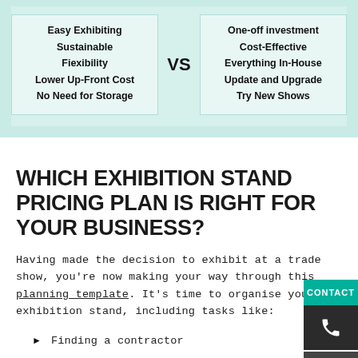[Figure (infographic): Comparison infographic with two boxes separated by VS label. Left box lists: Easy Exhibiting, Sustainable, Fiexibility, Lower Up-Front Cost, No Need for Storage. Right box lists: One-off investment, Cost-Effective, Everything In-House, Update and Upgrade, Try New Shows.]
WHICH EXHIBITION STAND PRICING PLAN IS RIGHT FOR YOUR BUSINESS?
Having made the decision to exhibit at a trade show, you're now making your way through this planning template. It's time to organise your exhibition stand, including tasks like:
Finding a contractor
Choosing which type of stand you want
Pricing off...the 3D...